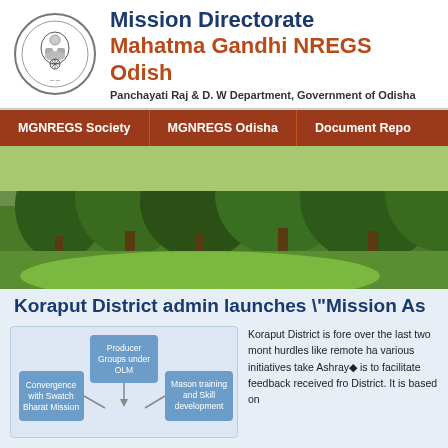Mission Directorate Mahatma Gandhi NREGS Odisha — Panchayati Raj & D. W Department, Government of Odisha
MGNREGS Society | MGNREGS Odisha | Document Repo
[Figure (photo): Landscape photo of trees and green fields in rural Odisha]
Koraput District admin launches "Mission As
[Figure (flowchart): Flowchart showing: Convergence with Swatch Bharat Mission, Producer Groups under OLM, Mason training and Skill development]
Koraput District is fore over the last two mont hurdles like remote ha various initiatives take Ashray is to facilitat feedback received fro District. It is based on